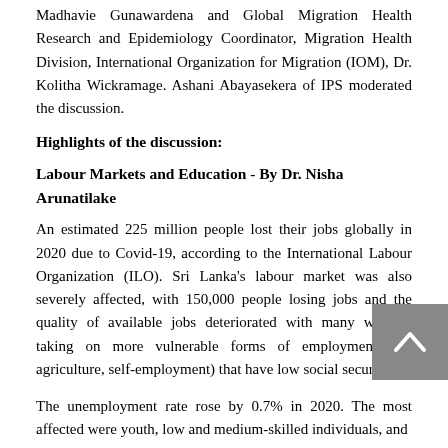Madhavie Gunawardena and Global Migration Health Research and Epidemiology Coordinator, Migration Health Division, International Organization for Migration (IOM), Dr. Kolitha Wickramage. Ashani Abayasekera of IPS moderated the discussion.
Highlights of the discussion:
Labour Markets and Education - By Dr. Nisha Arunatilake
An estimated 225 million people lost their jobs globally in 2020 due to Covid-19, according to the International Labour Organization (ILO). Sri Lanka's labour market was also severely affected, with 150,000 people losing jobs and the quality of available jobs deteriorated with many workers taking on more vulnerable forms of employment (eg. agriculture, self-employment) that have low social security.
The unemployment rate rose by 0.7% in 2020. The most affected were youth, low and medium-skilled individuals, and